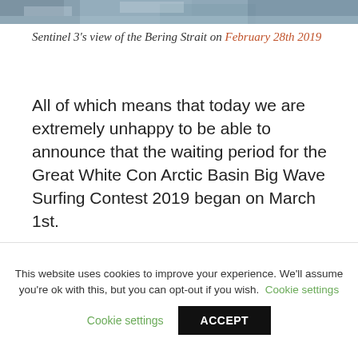[Figure (photo): Top strip of a satellite/aerial photo of snowy mountainous terrain (Bering Strait viewed from Sentinel 3)]
Sentinel 3's view of the Bering Strait on February 28th 2019
All of which means that today we are extremely unhappy to be able to announce that the waiting period for the Great White Con Arctic Basin Big Wave Surfing Contest 2019 began on March 1st.
Earlier this week I posed a little conundrum over on Twitter. Here it is:
This website uses cookies to improve your experience. We'll assume you're ok with this, but you can opt-out if you wish. Cookie settings ACCEPT